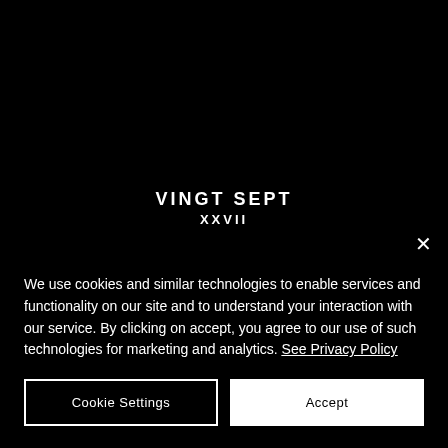VINGT SEPT
XXVII
We use cookies and similar technologies to enable services and functionality on our site and to understand your interaction with our service. By clicking on accept, you agree to our use of such technologies for marketing and analytics. See Privacy Policy
Cookie Settings
Accept